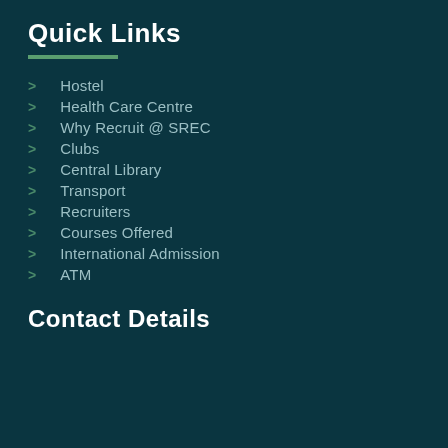Quick Links
Hostel
Health Care Centre
Why Recruit @ SREC
Clubs
Central Library
Transport
Recruiters
Courses Offered
International Admission
ATM
Contact Details